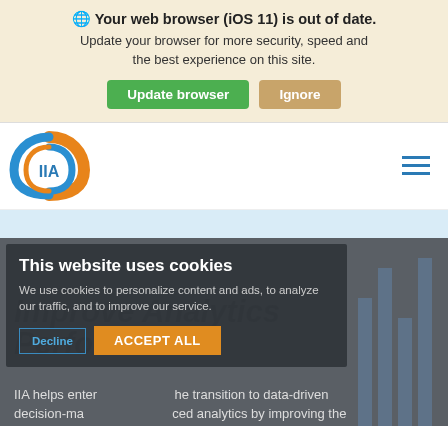Your web browser (iOS 11) is out of date. Update your browser for more security, speed and the best experience on this site. Update browser | Ignore
[Figure (logo): IIA (Institute for Improvement in Analytics) logo — circular icon with orange and blue swoosh design with 'IIA' text in blue]
Improve Analytics Performance
This website uses cookies
We use cookies to personalize content and ads, to analyze our traffic, and to improve our service.
IIA helps enterprises make the transition to data-driven decision-making and advanced analytics by improving the capabilities and effectiveness of their analytics teams.